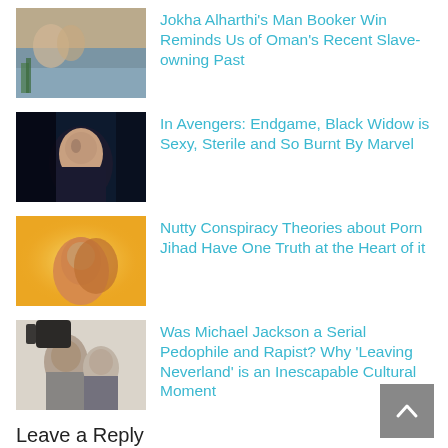Jokha Alharthi's Man Booker Win Reminds Us of Oman's Recent Slave-owning Past
In Avengers: Endgame, Black Widow is Sexy, Sterile and So Burnt By Marvel
Nutty Conspiracy Theories about Porn Jihad Have One Truth at the Heart of it
Was Michael Jackson a Serial Pedophile and Rapist? Why 'Leaving Neverland' is an Inescapable Cultural Moment
Leave a Reply
Comment